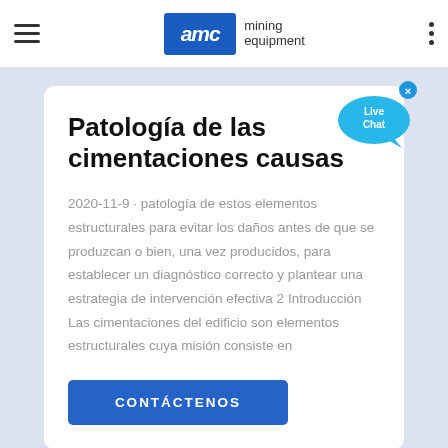AMC mining equipment
Patología de las cimentaciones causas
2020-11-9 · patología de estos elementos estructurales para evitar los daños antes de que se produzcan o bien, una vez producidos, para establecer un diagnóstico correcto y plantear una estrategia de intervención efectiva 2 Introducción Las cimentaciones del edificio son elementos estructurales cuya misión consiste en
CONTÁCTENOS